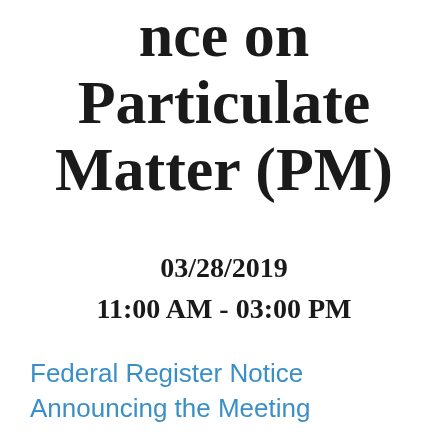nce on Particulate Matter (PM)
03/28/2019
11:00 AM - 03:00 PM
Federal Register Notice Announcing the Meeting